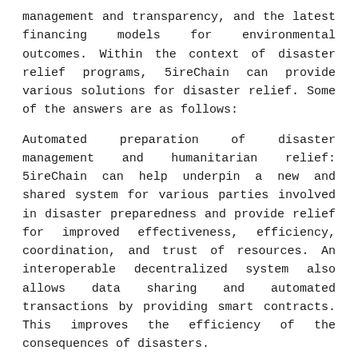management and transparency, and the latest financing models for environmental outcomes. Within the context of disaster relief programs, 5ireChain can provide various solutions for disaster relief. Some of the answers are as follows:
Automated preparation of disaster management and humanitarian relief: 5ireChain can help underpin a new and shared system for various parties involved in disaster preparedness and provide relief for improved effectiveness, efficiency, coordination, and trust of resources. An interoperable decentralized system also allows data sharing and automated transactions by providing smart contracts. This improves the efficiency of the consequences of disasters.
Distributed ledger technology provides a platform for an equitable and transparent process of disaster intervention. It eliminates the room for corruption and the management of funds.